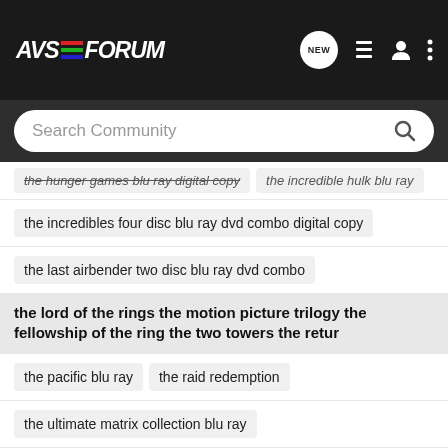AVS FORUM
Search Community
the hunger games blu ray digital copy   the incredible hulk blu ray
the incredibles four disc blu ray dvd combo digital copy
the last airbender two disc blu ray dvd combo
the lord of the rings the motion picture trilogy the fellowship of the ring the two towers the retur
the pacific blu ray   the raid redemption
the ultimate matrix collection blu ray
the worlds end blu ray dvd digital hd with ultraviolet
thor two disc blu ray dvd combo digital copy
tomorrow never dies pierce brosnan blu ray dvd james bond
total recall   toy story 3 blu ray
transformers dark of the moon three disc combo blu ray 3d blu ray dvd digital copy
transformers revenge of the fallen two disc special edition blu ray